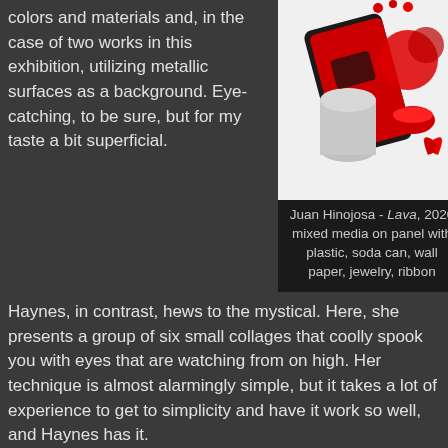colors and materials and, in the case of two works in this exhibition, utilizing metallic surfaces as a background. Eye-catching, to be sure, but for my taste a bit superficial.
[Figure (photo): Photo of a mixed media artwork by Juan Hinojosa featuring red-themed collage with soda can, plastic, jewelry, ribbon on panel]
Juan Hinojosa - Lava, 2020 mixed media on panel with plastic, soda can, wall paper, jewelry, ribbon
Haynes, in contrast, hews to the mystical. Here, she presents a group of six small collages that coolly spook you with eyes that are watching from on high. Her technique is almost alarmingly simple, but it takes a lot of experience to get to simplicity and have it work so well, and Haynes has it.
Oatman throws us a curveball by installing a body of 26 comic-book collages he made in 1983, during the summer after his first year in college. I'd glimpsed these somewhere before, and was delighted to see them again, as they are witty, well crafted, and totally consistent with the work he is making today, nearly 40 years later. It takes courage to reveal early work, and in this instance I think it pays off